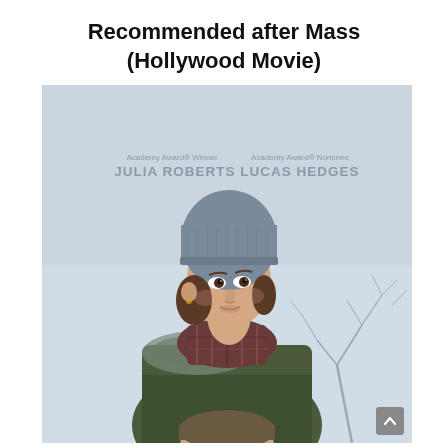Recommended after Mass (Hollywood Movie)
[Figure (photo): Movie poster for a Hollywood film featuring Academy Award Winner Julia Roberts and Academy Award Nominee Lucas Hedges. A woman in a grey knit beanie hat and olive green fur-trimmed coat with a plaid scarf looks into the distance in a wintry outdoor scene. The head of another person is visible below her.]